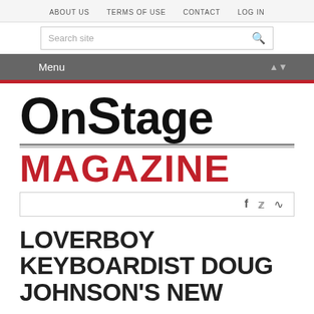ABOUT US   TERMS OF USE   CONTACT   LOG IN
[Figure (screenshot): Search site input bar with magnifying glass icon]
[Figure (screenshot): Menu navigation bar with dropdown arrow]
[Figure (logo): OnStage Magazine logo — 'OnStage' in large black bold text, 'MAGAZINE' in large red bold text, with horizontal divider lines between]
[Figure (screenshot): Social icons bar with Facebook (f), Twitter (bird), and RSS feed icons]
LOVERBOY KEYBOARDIST DOUG JOHNSON'S NEW